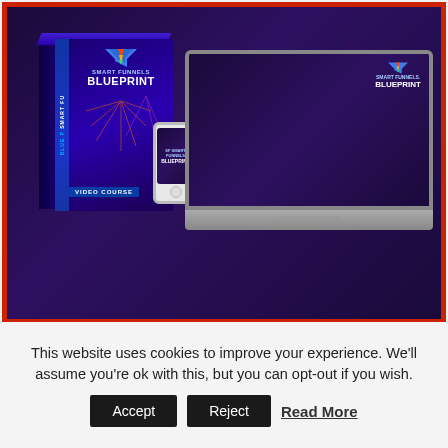[Figure (illustration): Smart Funnels Blueprint product mockup showing a box with DVD case on the left and laptop with mobile phones on the right. The box and screens show a purple/dark background with 'Smart Funnels Blueprint' branding and a funnel logo. Text 'Video Course' appears on the box.]
This website uses cookies to improve your experience. We'll assume you're ok with this, but you can opt-out if you wish.
Accept  Reject  Read More